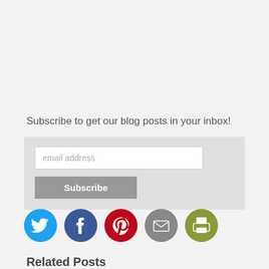Subscribe to get our blog posts in your inbox!
[Figure (infographic): Email subscription form with an email address input field and a Subscribe button, on a light gray background]
[Figure (infographic): Five circular social media share icons: Twitter (blue), Facebook (dark blue), Pinterest (red), Email/envelope (gray), Print (olive green)]
Related Posts